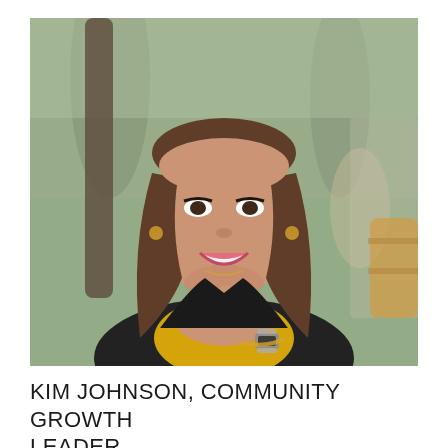[Figure (photo): Professional headshot of Kim Johnson, a young woman with long brown hair, smiling warmly with her hands clasped under her chin. She is wearing a yellow top and dark blazer with a smartwatch. The background shows an outdoor setting with greenery and bokeh.]
KIM JOHNSON, COMMUNITY GROWTH LEADER